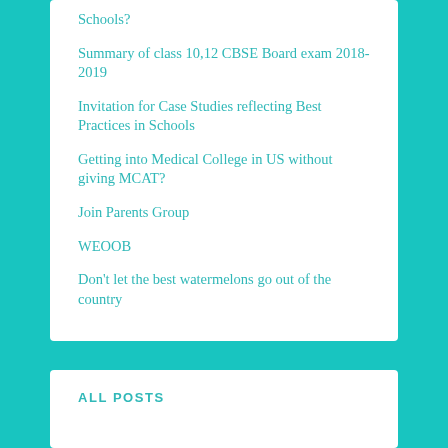Schools?
Summary of class 10,12 CBSE Board exam 2018-2019
Invitation for Case Studies reflecting Best Practices in Schools
Getting into Medical College in US without giving MCAT?
Join Parents Group
WEOOB
Don't let the best watermelons go out of the country
ALL POSTS